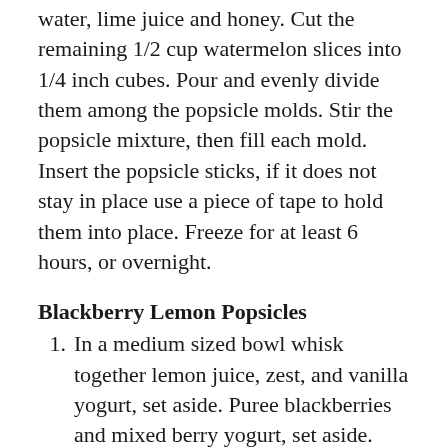water, lime juice and honey. Cut the remaining 1/2 cup watermelon slices into 1/4 inch cubes. Pour and evenly divide them among the popsicle molds. Stir the popsicle mixture, then fill each mold. Insert the popsicle sticks, if it does not stay in place use a piece of tape to hold them into place. Freeze for at least 6 hours, or overnight.
Blackberry Lemon Popsicles
In a medium sized bowl whisk together lemon juice, zest, and vanilla yogurt, set aside. Puree blackberries and mixed berry yogurt, set aside. Layer the popsicles as follows; 1 tablespoon lemon, 1 tablespoon blackberry, repeat. Swirl layers if desired.